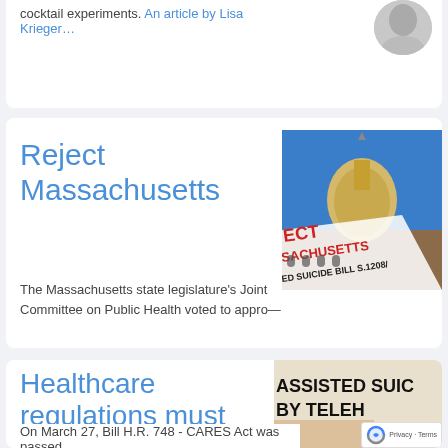cocktail experiments. An article by Lisa Krieger…
[Figure (photo): Circular portrait photo, partially visible]
Reject Massachusetts
[Figure (photo): Photo of Massachusetts State House dome with protest sign text reading 'ECT SACHUSETTS ED SUICIDE BILL S.1208/']
The Massachusetts state legislature's Joint Committee on Public Health voted to appro—
Healthcare regulations must
[Figure (photo): Image with text 'ASSISTED SUIC BY TELEH' with hands visible, partially overlaid by reCAPTCHA badge]
On March 27, Bill H.R. 748 - CARES Act was passed